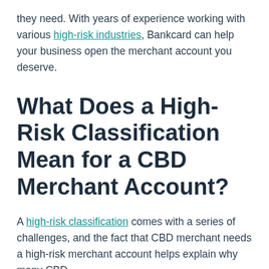they need. With years of experience working with various high-risk industries, Bankcard can help your business open the merchant account you deserve.
What Does a High-Risk Classification Mean for a CBD Merchant Account?
A high-risk classification comes with a series of challenges, and the fact that CBD merchant needs a high-risk merchant account helps explain why many CBD